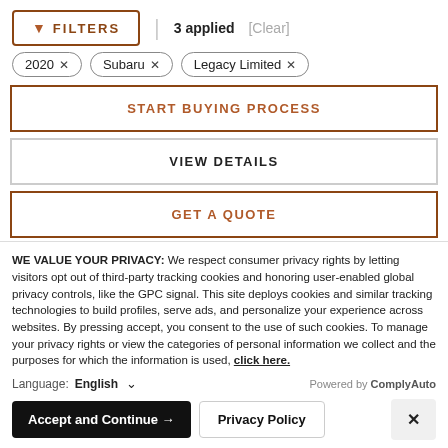FILTERS | 3 applied [Clear]
2020 ×
Subaru ×
Legacy Limited ×
START BUYING PROCESS
VIEW DETAILS
GET A QUOTE
WINDOW STICKER
WE VALUE YOUR PRIVACY: We respect consumer privacy rights by letting visitors opt out of third-party tracking cookies and honoring user-enabled global privacy controls, like the GPC signal. This site deploys cookies and similar tracking technologies to build profiles, serve ads, and personalize your experience across websites. By pressing accept, you consent to the use of such cookies. To manage your privacy rights or view the categories of personal information we collect and the purposes for which the information is used, click here.
Language: English ∨ Powered by ComplyAuto
Accept and Continue → Privacy Policy ×